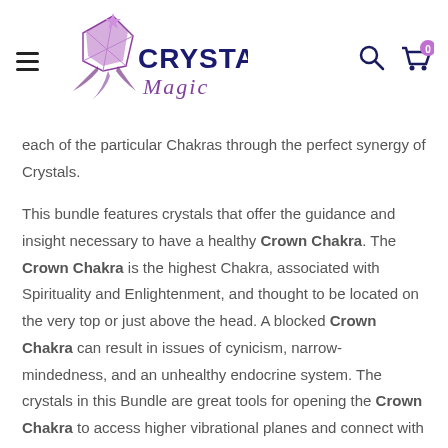[Figure (logo): Crystal Magic logo with purple crystal/snowflake graphic and stylized text]
each of the particular Chakras through the perfect synergy of Crystals.
This bundle features crystals that offer the guidance and insight necessary to have a healthy Crown Chakra. The Crown Chakra is the highest Chakra, associated with Spirituality and Enlightenment, and thought to be located on the very top or just above the head. A blocked Crown Chakra can result in issues of cynicism, narrow-mindedness, and an unhealthy endocrine system. The crystals in this Bundle are great tools for opening the Crown Chakra to access higher vibrational planes and connect with your soul.